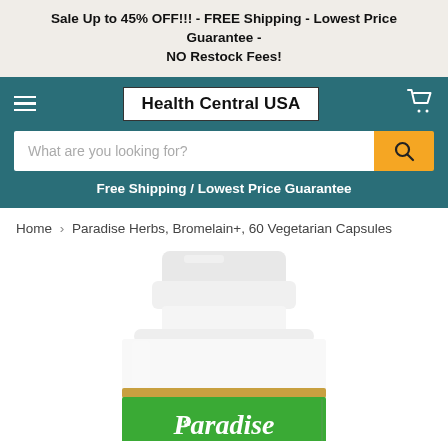Sale Up to 45% OFF!!! - FREE Shipping - Lowest Price Guarantee - NO Restock Fees!
[Figure (screenshot): Health Central USA website navigation bar with hamburger menu, logo, cart icon, search bar, and free shipping text]
Free Shipping / Lowest Price Guarantee
Home › Paradise Herbs, Bromelain+, 60 Vegetarian Capsules
[Figure (photo): Paradise Herbs supplement bottle showing white cap and green label with 'Paradise' text in script font]